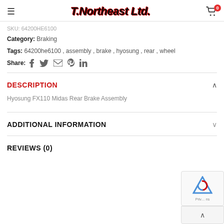T. Northeast Ltd.
SKU: 64200HE6100
Category: Braking
Tags: 64200he6100 , assembly , brake , hyosung , rear , wheel
Share:
DESCRIPTION
Hyosung FX110 Midas Rear Brake Assembly
ADDITIONAL INFORMATION
REVIEWS (0)